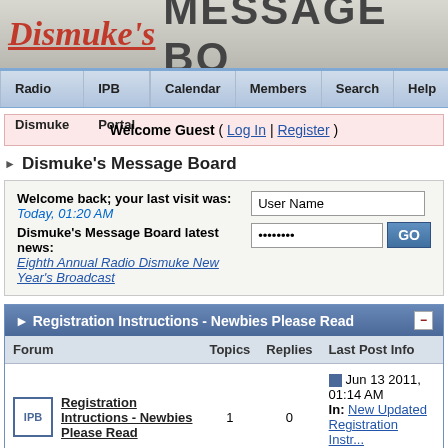[Figure (logo): Dismuke's Message Board banner header with cursive red Dismuke's logo and bold MESSAGE BO text]
Radio Dismuke | IPB Portal | Calendar | Members | Search | Help
Welcome Guest ( Log In | Register )
Dismuke's Message Board
Welcome back; your last visit was: Today, 01:20 AM
Dismuke's Message Board latest news:
Eighth Annual Radio Dismuke New Year's Broadcast
| Forum | Topics | Replies | Last Post Info |
| --- | --- | --- | --- |
| Registration Intructions - Newbies Please Read | 1 | 0 | Jun 13 2011, 01:14 AM
In: New Updated Registration Instr...
By: dismuke |